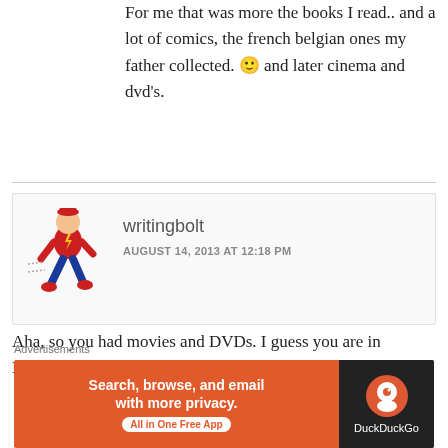For me that was more the books I read.. and a lot of comics, the french belgian ones my father collected. 🙂 and later cinema and dvd's.
writingbolt
AUGUST 14, 2013 AT 12:18 PM
Aha, so you had movies and DVDs. I guess you are in Europe–which could be a whole different world from what I
Advertisements
[Figure (infographic): DuckDuckGo advertisement banner: orange background with text 'Search, browse, and email with more privacy. All in One Free App' and DuckDuckGo logo on dark right panel]